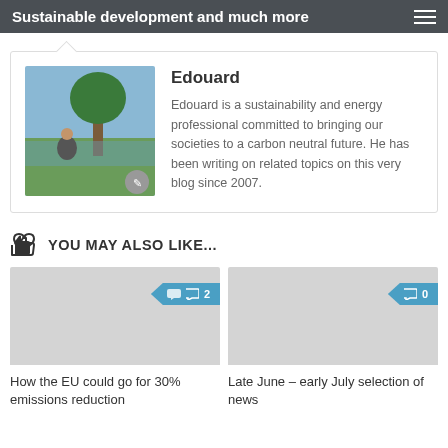Sustainable development and much more
[Figure (photo): Author photo of Edouard sitting under a tree outdoors]
Edouard
Edouard is a sustainability and energy professional committed to bringing our societies to a carbon neutral future. He has been writing on related topics on this very blog since 2007.
YOU MAY ALSO LIKE...
[Figure (photo): Article thumbnail image placeholder with comment badge showing 2 comments]
How the EU could go for 30% emissions reduction
[Figure (photo): Article thumbnail image placeholder with comment badge showing 0 comments]
Late June – early July selection of news